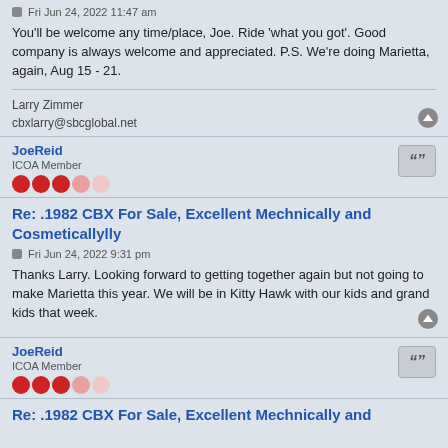Fri Jun 24, 2022 11:47 am
You'll be welcome any time/place, Joe. Ride 'what you got'. Good company is always welcome and appreciated. P.S. We're doing Marietta, again, Aug 15 - 21.
Larry Zimmer
cbxlarry@sbcglobal.net
JoeReid
ICOA Member
Re: .1982 CBX For Sale, Excellent Mechnically and Cosmeticallylly
Fri Jun 24, 2022 9:31 pm
Thanks Larry. Looking forward to getting together again but not going to make Marietta this year. We will be in Kitty Hawk with our kids and grand kids that week.
JoeReid
ICOA Member
Re: .1982 CBX For Sale, Excellent Mechnically and